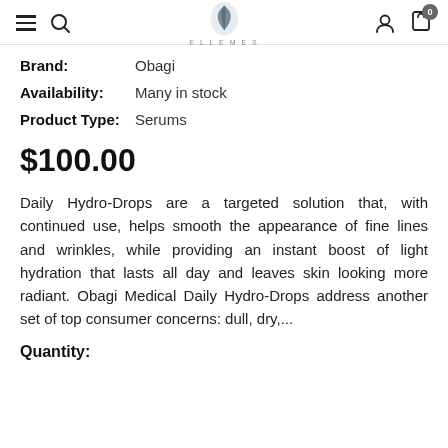ELLEMES — navigation header with logo
Brand: Obagi
Availability: Many in stock
Product Type: Serums
$100.00
Daily Hydro-Drops are a targeted solution that, with continued use, helps smooth the appearance of fine lines and wrinkles, while providing an instant boost of light hydration that lasts all day and leaves skin looking more radiant. Obagi Medical Daily Hydro-Drops address another set of top consumer concerns: dull, dry,...
Quantity: